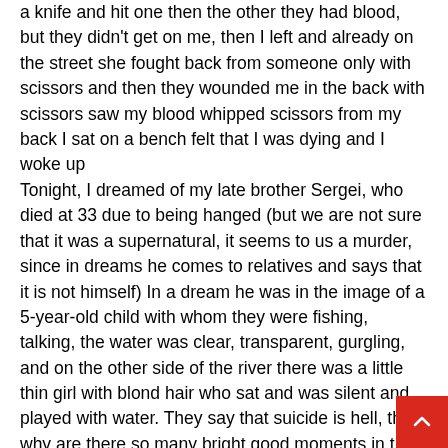a knife and hit one then the other they had blood, but they didn't get on me, then I left and already on the street she fought back from someone only with scissors and then they wounded me in the back with scissors saw my blood whipped scissors from my back I sat on a bench felt that I was dying and I woke up
Tonight, I dreamed of my late brother Sergei, who died at 33 due to being hanged (but we are not sure that it was a supernatural, it seems to us a murder, since in dreams he comes to relatives and says that it is not himself) In a dream he was in the image of a 5-year-old child with whom they were fishing, talking, the water was clear, transparent, gurgling, and on the other side of the river there was a little thin girl with blond hair who sat and was silent and played with water. They say that suicide is hell, then why are there so many bright good moments in the dream?? Please sort it out.